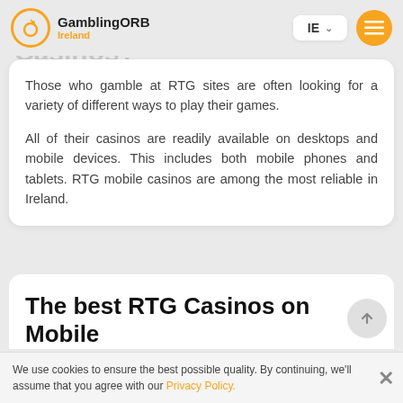GamblingORB Ireland — IE — navigation bar
How can I play at RTG Casinos?
Those who gamble at RTG sites are often looking for a variety of different ways to play their games.
All of their casinos are readily available on desktops and mobile devices. This includes both mobile phones and tablets. RTG mobile casinos are among the most reliable in Ireland.
The best RTG Casinos on Mobile
We use cookies to ensure the best possible quality. By continuing, we'll assume that you agree with our Privacy Policy.